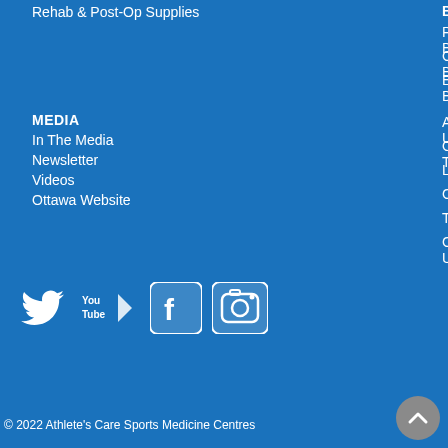Rehab & Post-Op Supplies
BLOG
Public Blog
Chiro's Blog
Employee's Blog
MEDIA
In The Media
Newsletter
Videos
Ottawa Website
About Us
Our Team
Locations
Careers
Testimonials
Contact Us
[Figure (logo): Social media icons: Twitter, YouTube, Facebook, Instagram]
© 2022 Athlete's Care Sports Medicine Centres